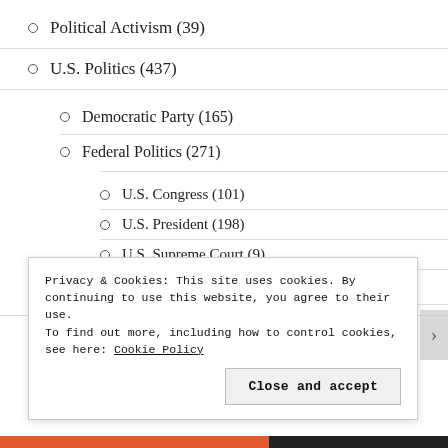Political Activism (39)
U.S. Politics (437)
Democratic Party (165)
Federal Politics (271)
U.S. Congress (101)
U.S. President (198)
U.S. Supreme Court (9)
Privacy & Cookies: This site uses cookies. By continuing to use this website, you agree to their use.
To find out more, including how to control cookies, see here: Cookie Policy
Close and accept